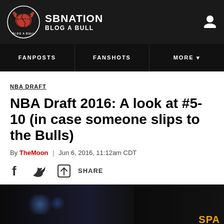SBNATION BLOG A BULL
FANPOSTS | FANSHOTS | MORE
NBA DRAFT
NBA Draft 2016: A look at #5-10 (in case someone slips to the Bulls)
By TheMoon | Jun 6, 2016, 11:12am CDT
SHARE
[Figure (photo): Dark arena/draft event photo with Spalding logo visible at bottom right]